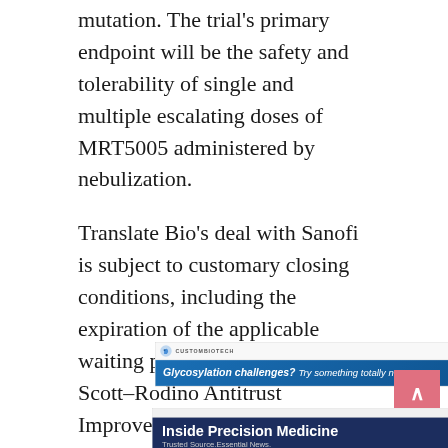mutation. The trial’s primary endpoint will be the safety and tolerability of single and multiple escalating doses of MRT5005 administered by nebulization.
Translate Bio’s deal with Sanofi is subject to customary closing conditions, including the expiration of the applicable waiting period under the Hart–Scott–Rodino Antitrust Improvements Act of 1976 in the U.S.
[Figure (other): CustomBiotech advertisement banner: 'Glycosylation challenges? Try something totally new.' with blue gradient background and brand logo.]
[Figure (other): Inside Precision Medicine advertisement: 'Trusted Source. Essential News.' with dark blue background and red VISIT NOW button.]